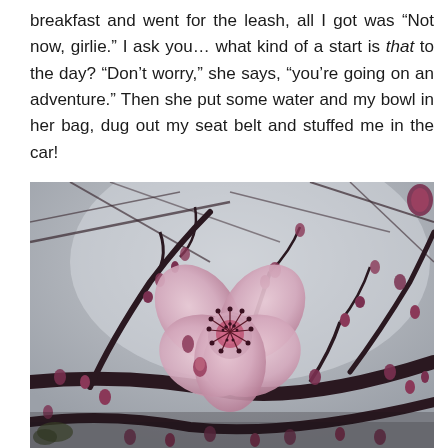breakfast and went for the leash, all I got was “Not now, girlie.” I ask you… what kind of a start is that to the day? “Don’t worry,” she says, “you’re going on an adventure.” Then she put some water and my bowl in her bag, dug out my seat belt and stuffed me in the car!
[Figure (photo): Close-up photograph of cherry blossom branches with one open pink flower and many dark pink buds against a pale grey sky. The branches are dark brown and extend across the frame diagonally.]